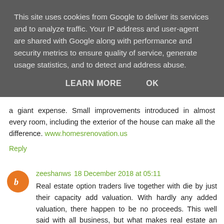This site uses cookies from Google to deliver its services and to analyze traffic. Your IP address and user-agent are shared with Google along with performance and security metrics to ensure quality of service, generate usage statistics, and to detect and address abuse.
LEARN MORE   OK
a giant expense. Small improvements introduced in almost every room, including the exterior of the house can make all the difference. www.homesrenovation.us
Reply
zeeshanws 18 December 2018 at 05:11
Real estate option traders live together with die by just their capacity add valuation. With hardly any added valuation, there happen to be no proceeds. This well said with all business, but what makes real estate an extremely great business in addition to a great financial commitment, is numerous ways it is possible to value and profit from big proceeds. www.newservicespoints.com